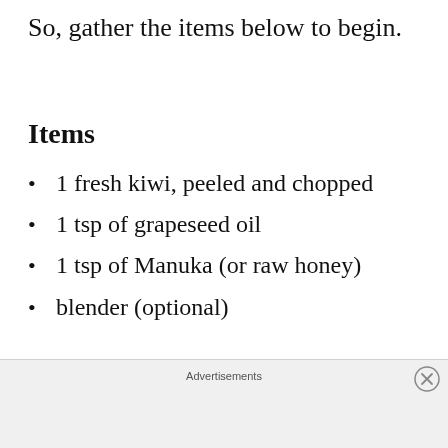So, gather the items below to begin.
Items
1 fresh kiwi, peeled and chopped
1 tsp of grapeseed oil
1 tsp of Manuka (or raw honey)
blender (optional)
Advertisements